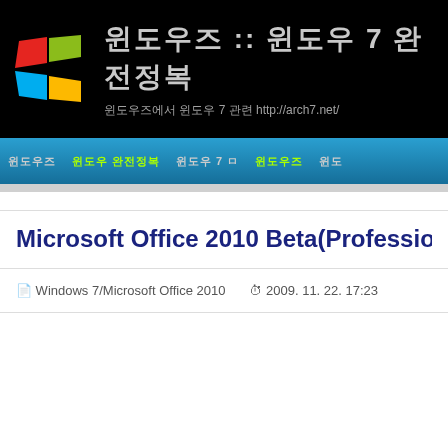윈도우즈 :: 윈도우 7 완전정복 | 윈도우즈에서 윈도우 7 관련 http://arch7.net/
윈도우즈   윈도우 완전정복   윈도우 7 ㅁ   윈도우즈   윈도
Microsoft Office 2010 Beta(Professio
Windows 7/Microsoft Office 2010   2009. 11. 22. 17:23